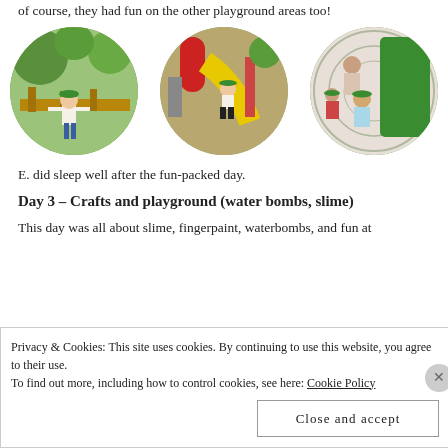of course, they had fun on the other playground areas too!
[Figure (photo): Three circular cropped photos of children playing on playground equipment at a park. Left: child in green hat walking on wooden structure. Middle: child going down a yellow slide. Right: children sitting together on playground equipment.]
E. did sleep well after the fun-packed day.
Day 3 – Crafts and playground (water bombs, slime)
This day was all about slime, fingerpaint, waterbombs, and fun at
Privacy & Cookies: This site uses cookies. By continuing to use this website, you agree to their use.
To find out more, including how to control cookies, see here: Cookie Policy
Close and accept